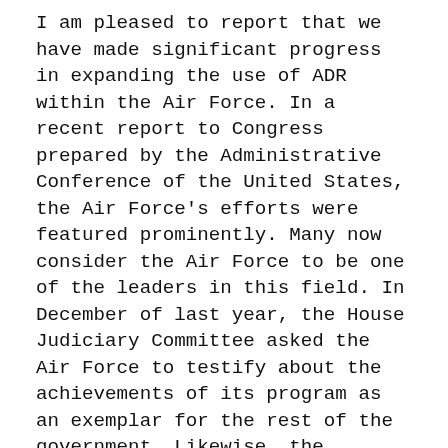I am pleased to report that we have made significant progress in expanding the use of ADR within the Air Force. In a recent report to Congress prepared by the Administrative Conference of the United States, the Air Force's efforts were featured prominently. Many now consider the Air Force to be one of the leaders in this field. In December of last year, the House Judiciary Committee asked the Air Force to testify about the achievements of its program as an exemplar for the rest of the government. Likewise, the Justice Department featured the Air Force's experience as a model ADR program at a government-wide ADR conference hosted by Attorney General Reno in September.
In the right circumstances, ADR can achieve fair and reasonable resolutions of disputes in less time, and at lower costs, than traditional means. We have achieved those purposes repeatedly. For example, in FY 96, the Air Force used ADR in 133,770...